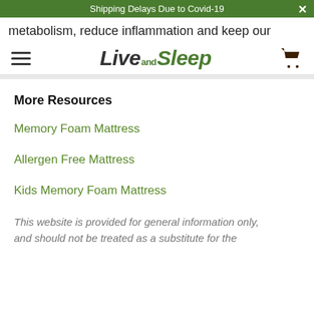Shipping Delays Due to Covid-19
metabolism, reduce inflammation and keep our
[Figure (logo): Live and Sleep logo with hamburger menu icon on the left and shopping cart icon on the right]
More Resources
Memory Foam Mattress
Allergen Free Mattress
Kids Memory Foam Mattress
This website is provided for general information only, and should not be treated as a substitute for the